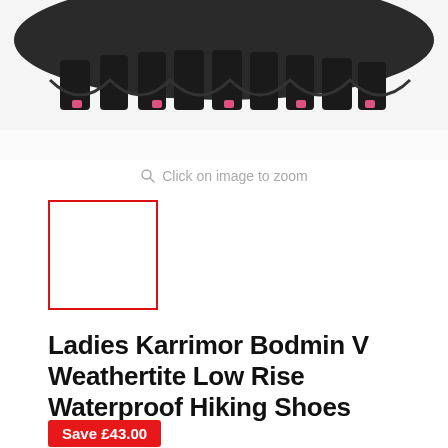[Figure (photo): Bottom sole of dark grey/black hiking shoe with pink accents, viewed from below, cropped at top of page]
Click on image to zoom
[Figure (photo): Small thumbnail image placeholder with red border outline, white interior]
Ladies Karrimor Bodmin V Weathertite Low Rise Waterproof Hiking Shoes
Save £43.00